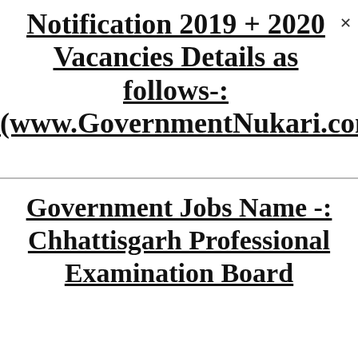Notification 2019 + 2020 Vacancies Details as follows-: (www.GovernmentNukari.com
Government Jobs Name -: Chhattisgarh Professional Examination Board